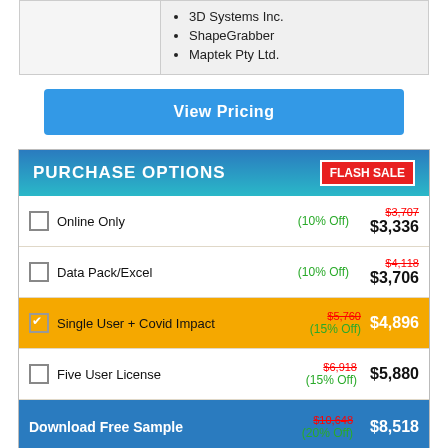|  |  |
| --- | --- |
|  | 3D Systems Inc.
ShapeGrabber
Maptek Pty Ltd. |
View Pricing
PURCHASE OPTIONS
| Option | Discount | Price |
| --- | --- | --- |
| Online Only | (10% Off) | $3,707 / $3,336 |
| Data Pack/Excel | (10% Off) | $4,118 / $3,706 |
| Single User + Covid Impact | (15% Off) | $5,760 / $4,896 |
| Five User License | (15% Off) | $6,918 / $5,880 |
| Download Free Sample | (20% Off) | $10,648 / $8,518 |
| Library Membership | Get 15% Off | $999 |